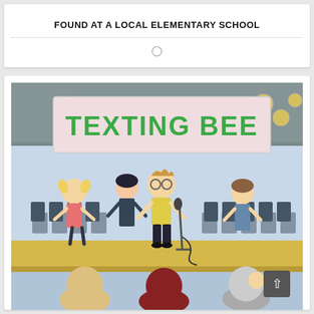FOUND AT A LOCAL ELEMENTARY SCHOOL
[Figure (illustration): A cartoon illustration of a 'Texting Bee' event at a school. A banner reading 'TEXTING BEE' hangs above a stage. A boy in a yellow shirt stands at a microphone in the center of the stage, with other children seated in chairs on either side. In the foreground, audience members watch from below.]